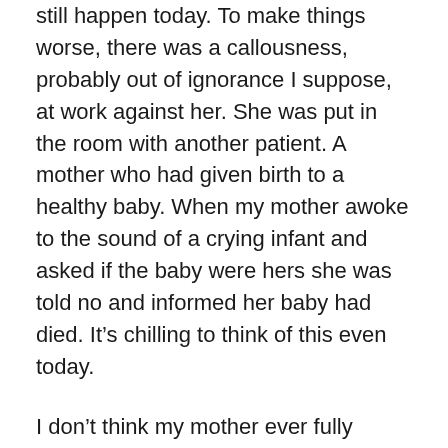still happen today. To make things worse, there was a callousness, probably out of ignorance I suppose, at work against her. She was put in the room with another patient. A mother who had given birth to a healthy baby. When my mother awoke to the sound of a crying infant and asked if the baby were hers she was told no and informed her baby had died. It's chilling to think of this even today.
I don't think my mother ever fully recovered from her loss. At that time there was no one to guide her through. To tell her she must attend to her grief. To even acknowledge that her loss was worthy of grief. She went on to have several more failed pregnancies before having me. She almost miscarried me but by that time there was a medication given to prevent the miscarry from going forth. It did its job so well I was a month overdue when I was born. Which I think justifies my tendency to run a little late. I couldn't